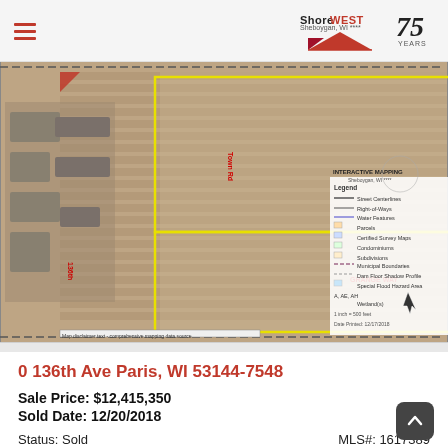ShoreWEST 75 Years
[Figure (map): Aerial/satellite map view of parcels at 0 136th Ave Paris, WI, showing agricultural land with yellow parcel boundary outlines, a map legend on the right side listing Street Centerlines, Right-of-Ways, Water Features, Parcels, Certified Survey Maps, Condominiums, Subdivisions, Municipal Boundaries, Dam Floor Shadow Profile, Special Flood Hazard Area, A AE AH, Wetland(s), scale 1 inch = 500 feet, Date Printed 12/17/2018, labeled INTERACTIVE MAPPING at top right.]
0 136th Ave Paris, WI 53144-7548
Sale Price: $12,415,350
Sold Date: 12/20/2018
Status: Sold    MLS#: 1617389